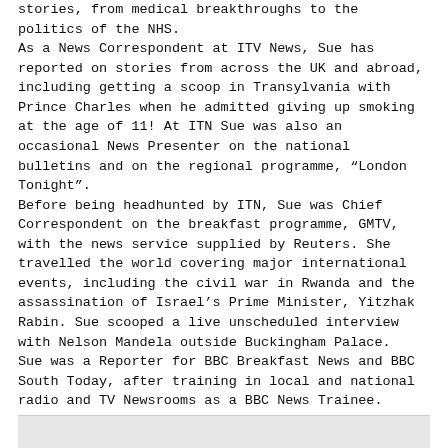stories, from medical breakthroughs to the politics of the NHS. As a News Correspondent at ITV News, Sue has reported on stories from across the UK and abroad, including getting a scoop in Transylvania with Prince Charles when he admitted giving up smoking at the age of 11! At ITN Sue was also an occasional News Presenter on the national bulletins and on the regional programme, "London Tonight". Before being headhunted by ITN, Sue was Chief Correspondent on the breakfast programme, GMTV, with the news service supplied by Reuters. She travelled the world covering major international events, including the civil war in Rwanda and the assassination of Israel's Prime Minister, Yitzhak Rabin. Sue scooped a live unscheduled interview with Nelson Mandela outside Buckingham Palace. Sue was a Reporter for BBC Breakfast News and BBC South Today, after training in local and national radio and TV Newsrooms as a BBC News Trainee.